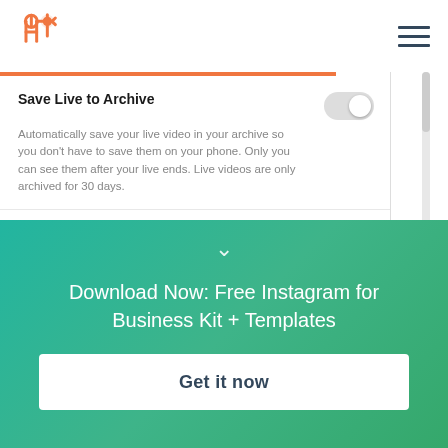[Figure (screenshot): HubSpot navigation bar with orange logo on left and hamburger menu on right]
Save Live to Archive
Automatically save your live video in your archive so you don't have to save them on your phone. Only you can see them after your live ends. Live videos are only archived for 30 days.
Sharing
Allow Sharing as Message
Let your followers share photos and videos from your story as messages. Only your followers can see what's
Download Now: Free Instagram for Business Kit + Templates
Get it now